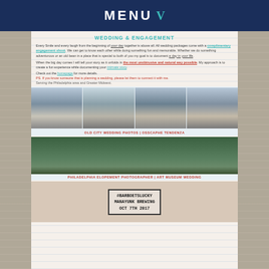MENU V
WEDDING & ENGAGEMENT
Every Smile and every laugh from the beginning of your day together is above all. All wedding packages come with a complimentary engagement shoot. We can get to know each other while doing something fun and memorable. Whether we do something adventurous or an old bean in a place that is special to both of you my goal is to document a day in your life.
When the big day comes I will tell your story as it unfolds in the most unobtrusive and natural way possible. My approach is to create a fun experience while documenting your intimate story.
Check out the homepage for more details.
PS. If you know someone that is planning a wedding, please let them to connect it with me.
Serving the Philadelphia area and Greater Midwest.
[Figure (photo): Four-panel strip of wedding photos showing couples at Old City Philadelphia with classical columns and brick buildings in the background]
OLD CITY WEDDING PHOTOS | OSSCAPHE TENDENZA
[Figure (photo): Outdoor elopement ceremony at an art museum in Philadelphia, couple standing with officiant under trees]
PHILADELPHIA ELOPEMENT PHOTOGRAPHER | ART MUSEUM WEDDING
[Figure (photo): Sign board reading #BARBOETSLUCKY, MANAYUNK BREWING, OCT 7TH 2017]